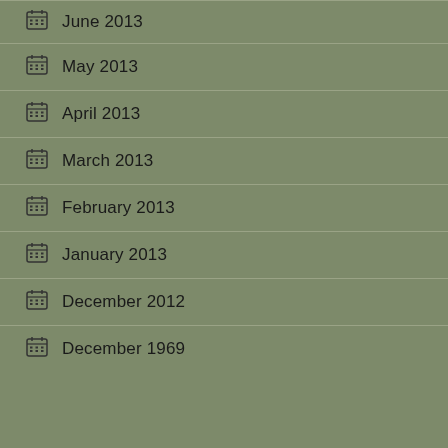June 2013
May 2013
April 2013
March 2013
February 2013
January 2013
December 2012
December 1969